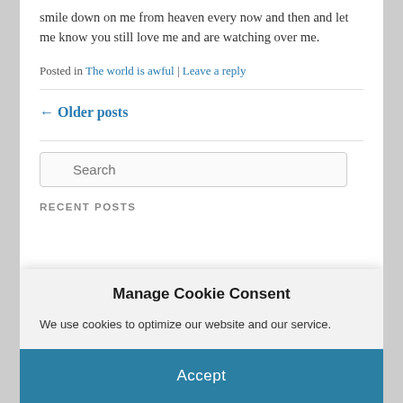smile down on me from heaven every now and then and let me know you still love me and are watching over me.
Posted in The world is awful | Leave a reply
← Older posts
[Figure (other): Search input box with placeholder text 'Search' and a magnifying glass icon]
RECENT POSTS
Manage Cookie Consent
We use cookies to optimize our website and our service.
Accept